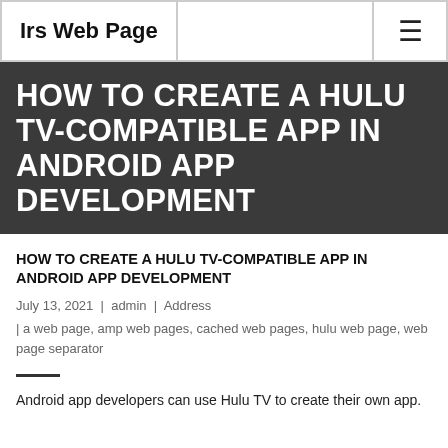Irs Web Page
HOW TO CREATE A HULU TV-COMPATIBLE APP IN ANDROID APP DEVELOPMENT
HOW TO CREATE A HULU TV-COMPATIBLE APP IN ANDROID APP DEVELOPMENT
July 13, 2021 | admin | Address
| a web page, amp web pages, cached web pages, hulu web page, web page separator
Android app developers can use Hulu TV to create their own app.